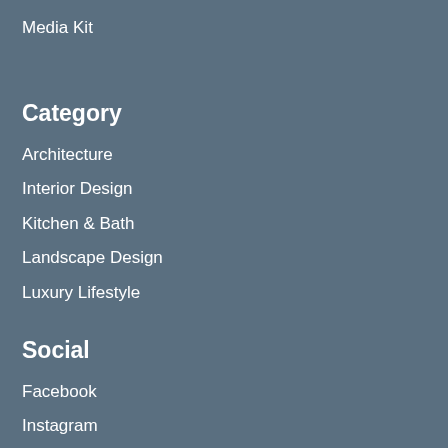Media Kit
Category
Architecture
Interior Design
Kitchen & Bath
Landscape Design
Luxury Lifestyle
Social
Facebook
Instagram
Pinterest